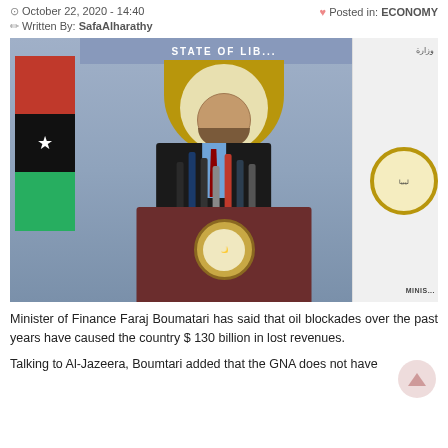October 22, 2020 - 14:40  |  Posted in: ECONOMY  |  Written By: SafaAlharathy
[Figure (photo): Press conference photo of Minister of Finance Faraj Boumatari at a podium with the State of Libya seal and multiple microphones, Libyan flag visible on left, Ministry of Finance banner on right]
Minister of Finance Faraj Boumatari has said that oil blockades over the past years have caused the country $ 130 billion in lost revenues.
Talking to Al-Jazeera, Boumtari added that the GNA does not have